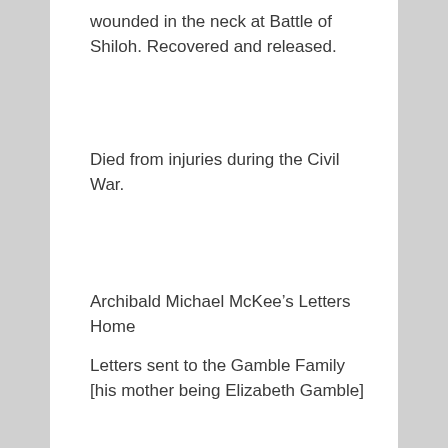wounded in the neck at Battle of Shiloh. Recovered and released.
Died from injuries during the Civil War.
Archibald Michael McKee’s Letters Home
Letters sent to the Gamble Family [his mother being Elizabeth Gamble]